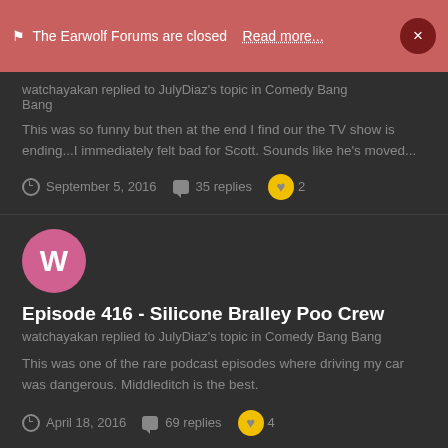⚑ The Earwolf Forums are closed  Read more...  ×
watchayakan replied to JulyDiaz's topic in Comedy Bang Bang
This was so funny but then at the end I find our the TV show is ending...I immediately felt bad for Scott. Sounds like he's moved...
September 5, 2016   35 replies   2
[Figure (other): Pink avatar circle with letter W]
Episode 416 - Silicone Bralley Poo Crew
watchayakan replied to JulyDiaz's topic in Comedy Bang Bang
This was one of the rare podcast episodes where driving my car was dangerous. Middleditch is the best.
April 18, 2016   69 replies   4